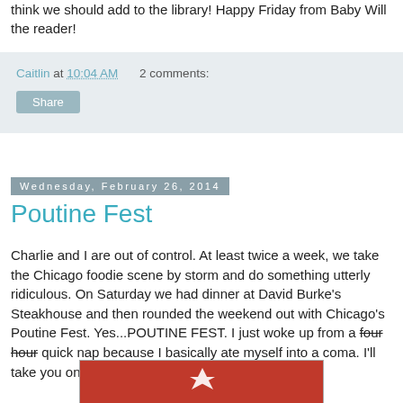think we should add to the library!  Happy Friday from Baby Will the reader!
Caitlin at 10:04 AM   2 comments:
Share
Wednesday, February 26, 2014
Poutine Fest
Charlie and I are out of control.  At least twice a week, we take the Chicago foodie scene by storm and do something utterly ridiculous.  On Saturday we had dinner at David Burke's Steakhouse and then rounded the weekend out with Chicago's Poutine Fest.  Yes...POUTINE FEST.  I just woke up from a four hour quick nap because I basically ate myself into a coma.  I'll take you on our tour of our Poutine Fest adventure.
[Figure (photo): Red background with white star shape, partial view of a photo at the bottom of the page]